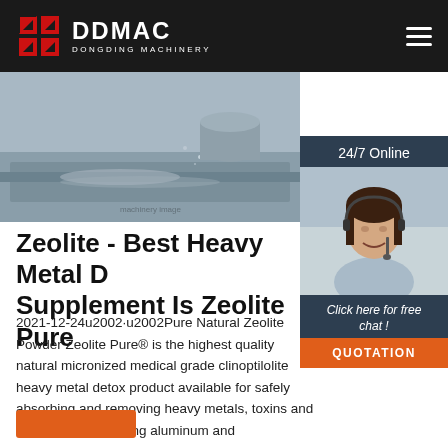DDMAC DONGDING MACHINERY
[Figure (photo): Industrial machinery photo showing a metal grinding/cutting process with sparks and metal shavings on a surface]
[Figure (photo): 24/7 Online chat widget with photo of a smiling woman wearing a headset, with 'Click here for free chat!' text and QUOTATION button]
Zeolite - Best Heavy Metal D... Supplement Is Zeolite Pure
2021-12-24u2002·u2002Pure Natural Zeolite Powder Zeolite Pure® is the highest quality natural micronized medical grade clinoptilolite heavy metal detox product available for safely absorbing and removing heavy metals, toxins and free radicals including aluminum and mercury/Thimerosal from vaccines out of your body while boosting the immune system and …